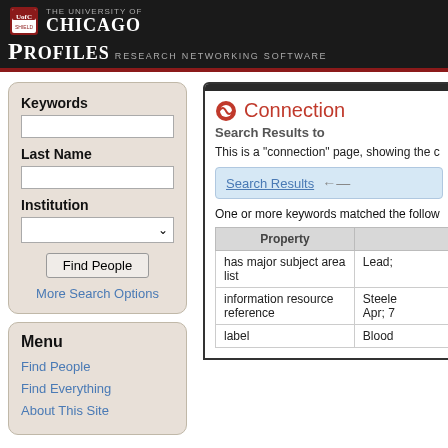THE UNIVERSITY OF CHICAGO — PROFILES Research Networking Software
Keywords
Last Name
Institution
Find People
More Search Options
Menu
Find People
Find Everything
About This Site
Connection
Search Results to
This is a "connection" page, showing the c
Search Results
One or more keywords matched the follow
| Property |  |
| --- | --- |
| has major subject area list | Lead; |
| information resource reference | Steele
Apr; 7 |
| label | Blood |